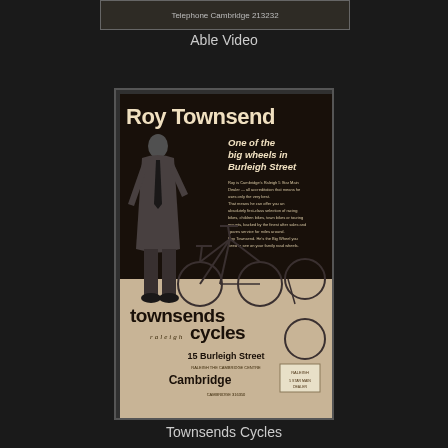[Figure (photo): Partial view of top image - an advertisement showing 'Telephone Cambridge 213232' text]
Able Video
[Figure (photo): Black and white advertisement for Townsends Cycles (Raleigh dealer) showing Roy Townsend in a suit standing next to bicycles. Text reads: 'Roy Townsend - One of the big wheels in Burleigh Street'. Address: 15 Burleigh Street, Cambridge.]
Townsends Cycles